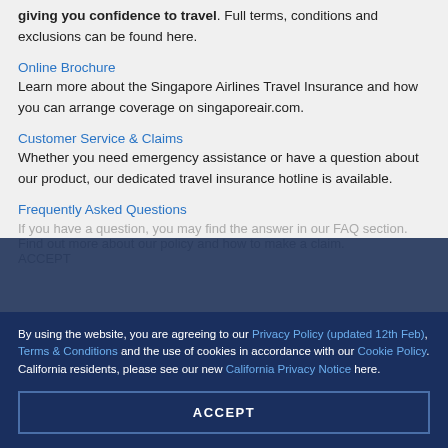giving you confidence to travel. Full terms, conditions and exclusions can be found here.
Online Brochure
Learn more about the Singapore Airlines Travel Insurance and how you can arrange coverage on singaporeair.com.
Customer Service & Claims
Whether you need emergency assistance or have a question about our product, our dedicated travel insurance hotline is available.
Frequently Asked Questions
By using the website, you are agreeing to our Privacy Policy (updated 12th Feb), Terms & Conditions and the use of cookies in accordance with our Cookie Policy. California residents, please see our new California Privacy Notice here.
ACCEPT